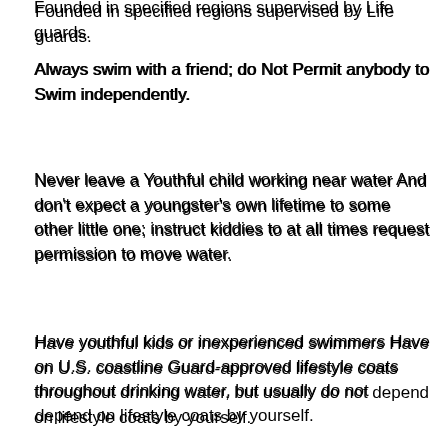Founded in specified regions supervised by Life guards.
Always swim with a friend; do Not Permit anybody to Swim independently.
Never leave a Youthful child working near water And don't expect a youngster's own lifetime to some other little one; instruct kiddies to at all times request permission to move water.
Have youthful kids or inexperienced swimmers Have on U.S. coastline Guard-approved lifestyle coats throughout drinking water, but usually do not depend on lifestyle coats by yourself.
Maintain frequent oversight.
Be sure everybody on your household learns how to swim Effectively. Sign up for age-appropriate Red Cross h2o